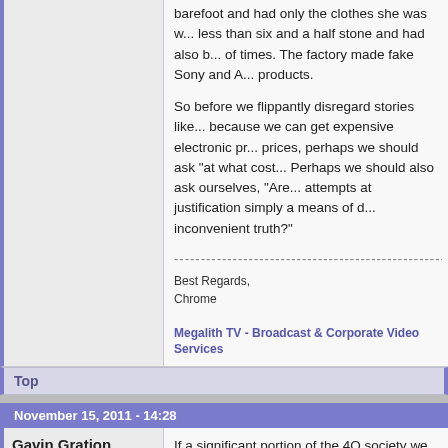barefoot and had only the clothes she was w... less than six and a half stone and had also b... of times. The factory made fake Sony and A... products.
So before we flippantly disregard stories like... because we can get expensive electronic pr... prices, perhaps we should ask "at what cost... Perhaps we should also ask ourselves, "Are... attempts at justification simply a means of d... inconvenient truth?"
Best Regards,
Chrome
Megalith TV - Broadcast & Corporate Video Services
Top
November 15, 2011 - 14:28
Gavin Gration
Offline
If a significant portion of the 4Q society we li... thought for its neighbours (either domestic o...